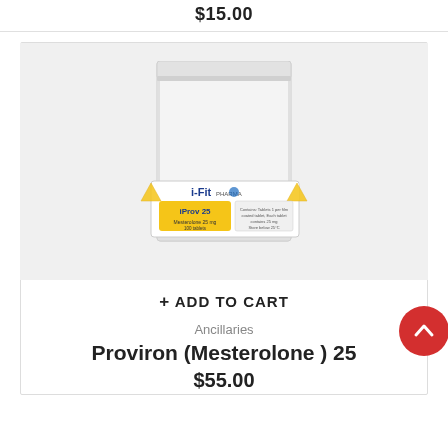$15.00
[Figure (photo): White resealable pouch bag with i-Fit Pharma iProv 25 (Mesterolone) label in yellow and blue, on a light gray background.]
+ ADD TO CART
Ancillaries
Proviron (Mesterolone ) 25
$55.00